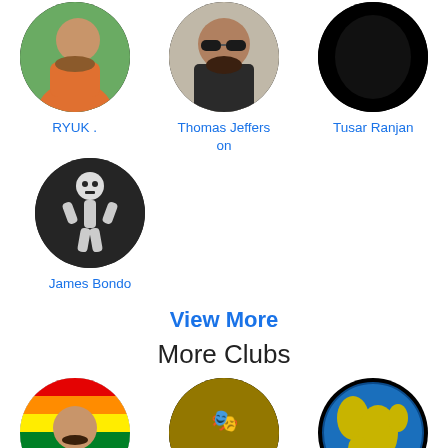[Figure (photo): Profile avatar of RYUK. - man in orange shirt outdoors]
RYUK .
[Figure (photo): Profile avatar of Thomas Jefferson - man with sunglasses and beard]
Thomas Jefferson
[Figure (photo): Profile avatar of Tusar Ranjan - all black silhouette]
Tusar Ranjan
[Figure (photo): Profile avatar of James Bondo - skeleton illustration on dark background]
James Bondo
View More
More Clubs
[Figure (photo): Club avatar - man with rainbow pride flag]
[Figure (photo): Club avatar - صوت الموت music club logo on black/yellow background]
[Figure (photo): Club avatar - globe/earth illustration]